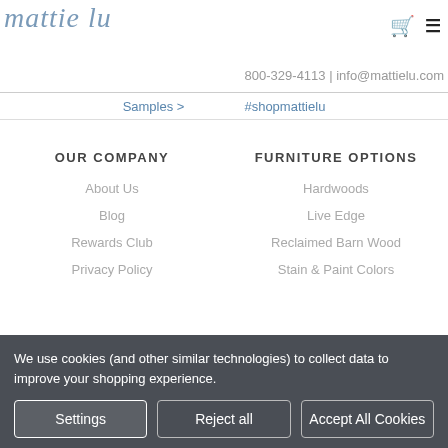[Figure (logo): Mattie Lu cursive script logo in steel blue]
800-329-4113 | info@mattielu.com
Samples >   #shopmattielu
OUR COMPANY
About Us
Blog
Rewards Club
Privacy Policy
FURNITURE OPTIONS
Hardwoods
Live Edge
Reclaimed Barn Wood
Stain & Paint Colors
We use cookies (and other similar technologies) to collect data to improve your shopping experience.
Settings   Reject all   Accept All Cookies